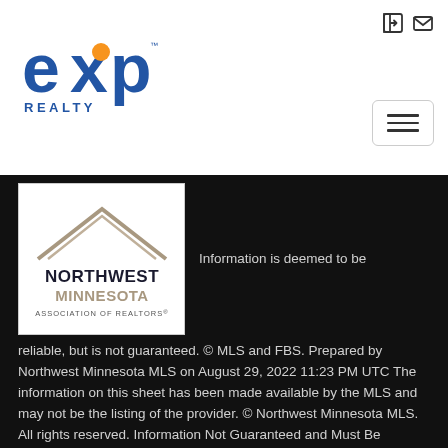[Figure (logo): eXp Realty logo with orange 'e' and blue 'xp' lettering and REALTY text below]
[Figure (logo): Northwest Minnesota Association of Realtors logo with stylized house roof graphic]
Information is deemed to be reliable, but is not guaranteed. © MLS and FBS. Prepared by Northwest Minnesota MLS on August 29, 2022 11:23 PM UTC The information on this sheet has been made available by the MLS and may not be the listing of the provider. © Northwest Minnesota MLS. All rights reserved. Information Not Guaranteed and Must Be Confirmed by End User.